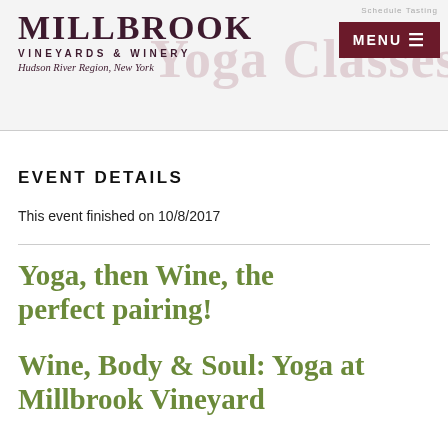MILLBROOK VINEYARDS & WINERY Hudson River Region, New York
EVENT DETAILS
This event finished on 10/8/2017
Yoga, then Wine, the perfect pairing!
Wine, Body & Soul: Yoga at Millbrook Vineyard